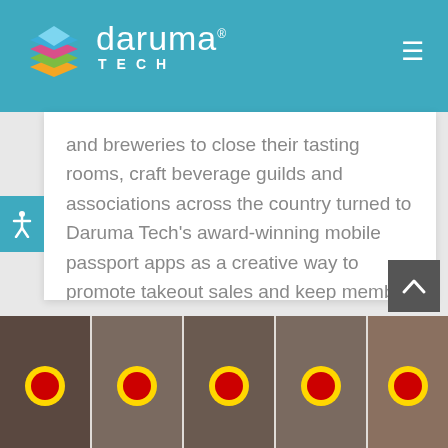Daruma Tech – navigation header with logo and hamburger menu
and breweries to close their tasting rooms, craft beverage guilds and associations across the country turned to Daruma Tech's award-winning mobile passport apps as a creative way to promote takeout sales and keep member businesses afloat. And thanks to [...]
READ MORE >
[Figure (photo): Bottom image strip showing multiple photos of Colorado state flags and brewery/construction scenes]